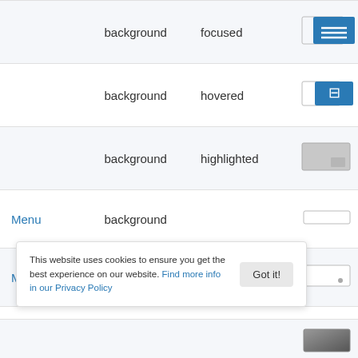| Component | Property | State | Swatch |
| --- | --- | --- | --- |
|  | background | focused | [blue menu swatch] |
|  | background | hovered | [blue book swatch] |
|  | background | highlighted | [gray swatch] |
| Menu | background |  | [white outline swatch] |
| MenuItem | background |  | [white corner swatch] |
|  | background | highlighted | [white dot swatch] |
This website uses cookies to ensure you get the best experience on our website. Find more info in our Privacy Policy
Got it!